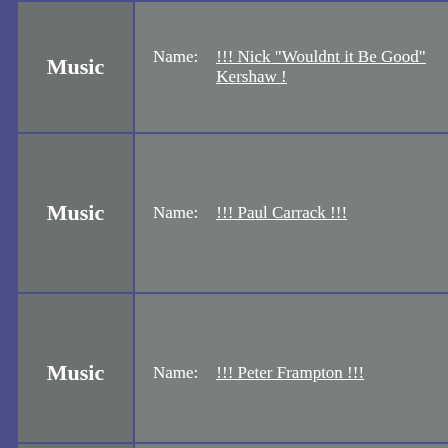| Category | Name |
| --- | --- |
| Music | !!! Nick "Wouldnt it Be Good" Kershaw ! |
| Music | !!! Paul Carrack !!! |
| Music | !!! Peter Frampton !!! |